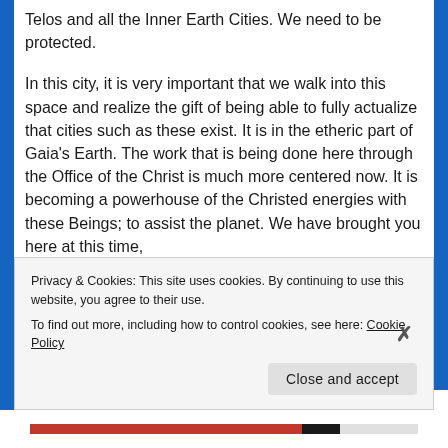Telos and all the Inner Earth Cities. We need to be protected.
In this city, it is very important that we walk into this space and realize the gift of being able to fully actualize that cities such as these exist. It is in the etheric part of Gaia's Earth. The work that is being done here through the Office of the Christ is much more centered now. It is becoming a powerhouse of the Christed energies with these Beings; to assist the planet. We have brought you here at this time,
Privacy & Cookies: This site uses cookies. By continuing to use this website, you agree to their use.
To find out more, including how to control cookies, see here: Cookie Policy
Close and accept